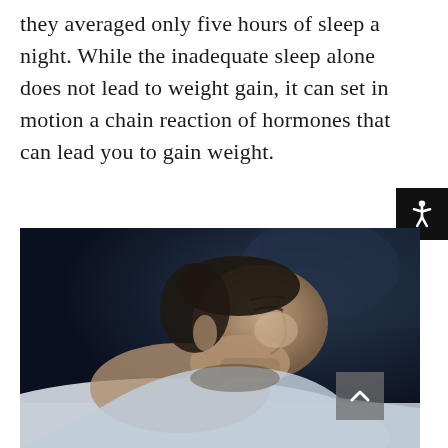they averaged only five hours of sleep a night. While the inadequate sleep alone does not lead to weight gain, it can set in motion a chain reaction of hormones that can lead you to gain weight.
[Figure (photo): A man lying on a pillow with eyes closed, sleeping, photographed in a dark blue-toned environment. Close-up profile/three-quarter view of his face and neck.]